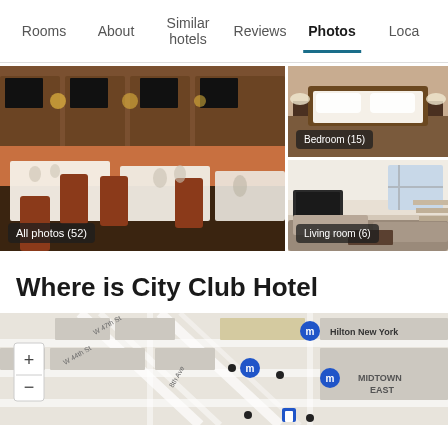Rooms | About | Similar hotels | Reviews | Photos | Loca...
[Figure (photo): Restaurant/dining area with white tablecloths and brown leather chairs, warm lighting. Overlay: All photos (52)]
[Figure (photo): Hotel bedroom view. Overlay: Bedroom (15)]
[Figure (photo): Hotel living room/suite interior. Overlay: Living room (6)]
Where is City Club Hotel
[Figure (map): Map showing Midtown East New York area with hotel pins, W 47th St, W 44th St, 8th Ave, Hilton New York label, MIDTOWN EAST label, zoom in/out controls]